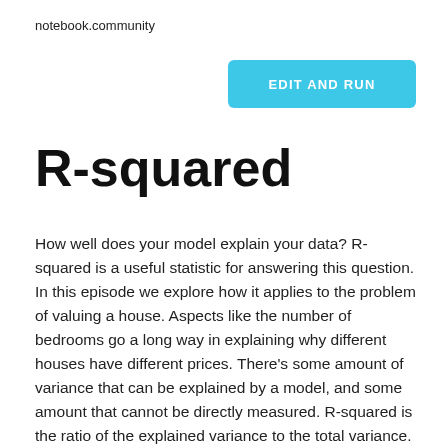notebook.community
[Figure (other): Cyan/teal button labeled EDIT AND RUN]
R-squared
How well does your model explain your data? R-squared is a useful statistic for answering this question. In this episode we explore how it applies to the problem of valuing a house. Aspects like the number of bedrooms go a long way in explaining why different houses have different prices. There's some amount of variance that can be explained by a model, and some amount that cannot be directly measured. R-squared is the ratio of the explained variance to the total variance. It's not a measure of accuracy, it's a measure of the power of